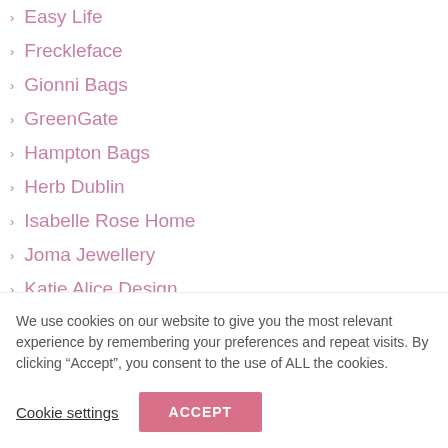Easy Life
Freckleface
Gionni Bags
GreenGate
Hampton Bags
Herb Dublin
Isabelle Rose Home
Joma Jewellery
Katie Alice Design
We use cookies on our website to give you the most relevant experience by remembering your preferences and repeat visits. By clicking “Accept”, you consent to the use of ALL the cookies.
Cookie settings  ACCEPT